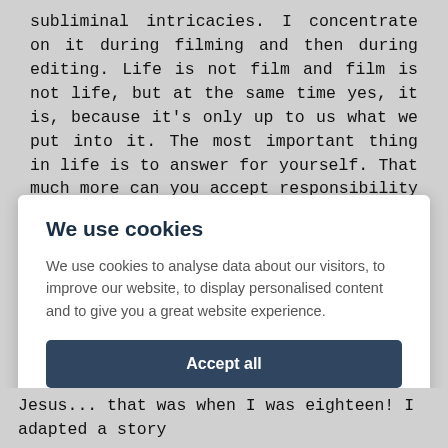subliminal intricacies. I concentrate on it during filming and then during editing. Life is not film and film is not life, but at the same time yes, it is, because it's only up to us what we put into it. The most important thing in life is to answer for yourself. That much more can you accept responsibility for others as well. But lots of books write about that, I'm not saying anything new.
We use cookies
We use cookies to analyse data about our visitors, to improve our website, to display personalised content and to give you a great website experience.
Accept all
Preferences
Jesus... that was when I was eighteen! I adapted a story